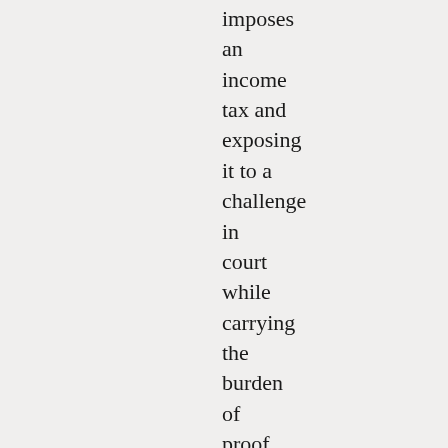imposes an income tax and exposing it to a challenge in court while carrying the burden of proof as required by due process. The statutes, prior to the 1954 revision,